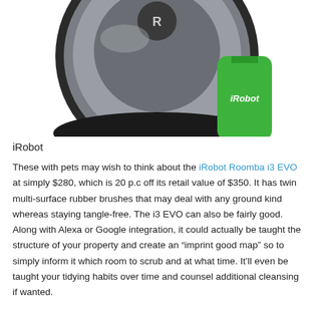[Figure (photo): Partial top view of an iRobot Roomba i3 EVO robotic vacuum cleaner in dark grey/silver, with an iRobot branded green smartphone visible in the lower right corner.]
iRobot
These with pets may wish to think about the iRobot Roomba i3 EVO at simply $280, which is 20 p.c off its retail value of $350. It has twin multi-surface rubber brushes that may deal with any ground kind whereas staying tangle-free. The i3 EVO can also be fairly good. Along with Alexa or Google integration, it could actually be taught the structure of your property and create an “imprint good map” so to simply inform it which room to scrub and at what time. It’ll even be taught your tidying habits over time and counsel additional cleansing if wanted.